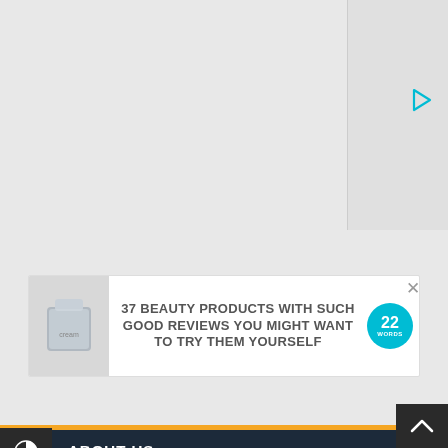[Figure (screenshot): Play button icon (triangle outline) in teal/cyan color in upper right panel area]
[Figure (screenshot): Advertisement banner: cream background with product image (cosmetic jar), bold gray text '37 BEAUTY PRODUCTS WITH SUCH GOOD REVIEWS YOU MIGHT WANT TO TRY THEM YOURSELF', teal circular badge with '22 WORDS', and X close button]
ABOUT US
[Figure (logo): Circular logo with dark outer ring, metallic/chrome V-check mark symbol on dark background]
[Figure (screenshot): Left toolbar with contrast and text size accessibility icons, dark background]
[Figure (screenshot): Dark right-side scroll-up button with chevron/arrow]